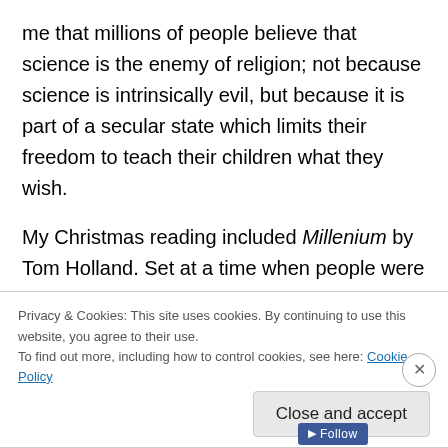me that millions of people believe that science is the enemy of religion; not because science is intrinsically evil, but because it is part of a secular state which limits their freedom to teach their children what they wish.
My Christmas reading included Millenium by Tom Holland. Set at a time when people were deeply religious and thought the world was about to end, the central story is about the battle for authority between the Holy Roman Emperor and the Pope. The turning point was when the excommunicated Henry IV crawled to the castle at
Privacy & Cookies: This site uses cookies. By continuing to use this website, you agree to their use.
To find out more, including how to control cookies, see here: Cookie Policy